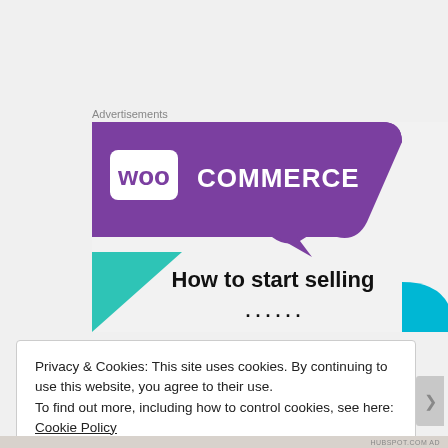Advertisements
[Figure (illustration): WooCommerce advertisement banner showing the WooCommerce logo on a purple background with teal and blue geometric shapes and partial text 'How to start selling']
Privacy & Cookies: This site uses cookies. By continuing to use this website, you agree to their use.
To find out more, including how to control cookies, see here: Cookie Policy
Close and accept